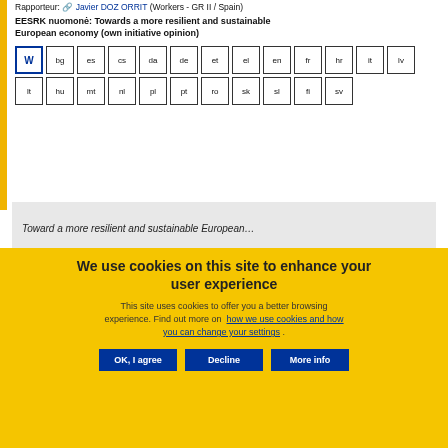Rapporteur: Javier DOZ ORRIT (Workers - GR II / Spain)
EESRK nuomonė: Towards a more resilient and sustainable European economy (own initiative opinion)
[Figure (other): Language selection buttons grid: W (Word), bg, es, cs, da, de, et, el, en, fr, hr, it, lv, lt, hu, mt, nl, pl, pt, ro, sk, sl, fi, sv]
Toward a more resilient and sustainable European…
We use cookies on this site to enhance your user experience
This site uses cookies to offer you a better browsing experience. Find out more on how we use cookies and how you can change your settings.